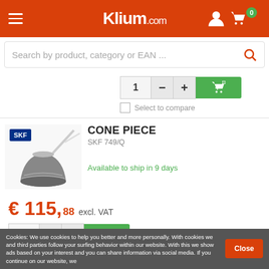Klium.com
Search by product, category or EAN ...
[Figure (screenshot): Add to cart controls: quantity box showing 1, minus button, plus button, green add-to-cart button with cart icon]
Select to compare
[Figure (photo): SKF cone piece bearing product image with SKF logo label]
CONE PIECE
SKF 749/Q
Available to ship in 9 days
€ 115,88 excl. VAT
[Figure (screenshot): Add to cart controls: quantity box showing 1, minus button, plus button, green add-to-cart button with cart icon]
Cookies: We use cookies to help you better and more personally. With cookies we and third parties follow your surfing behavior within our website. With this we show ads based on your interest and you can share information via social media. If you continue on our website, we